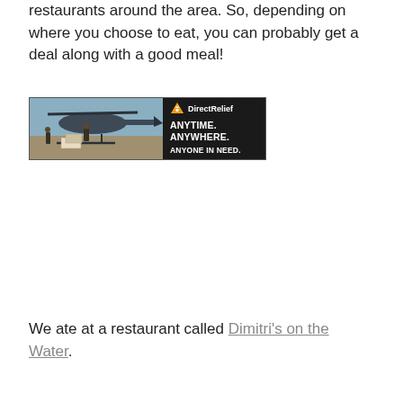restaurants around the area. So, depending on where you choose to eat, you can probably get a deal along with a good meal!
[Figure (photo): Advertisement banner for Direct Relief charity showing a military helicopter with cargo being loaded, alongside black panel with text 'DirectRelief ANYTIME. ANYWHERE. ANYONE IN NEED.']
We ate at a restaurant called Dimitri's on the Water.